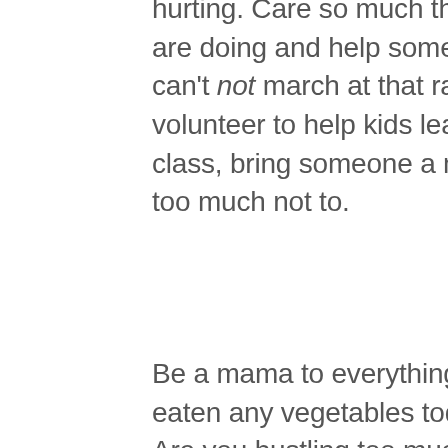hurting. Care so much that you simply have to stop what you are doing and help someone in need. Care so much that you can't not march at that rally, cheer at your friend's race, volunteer to help kids learn to read, teach that Sunday School class, bring someone a meal. Do it because you love the world too much not to.
Be a mama to everything. Be a mama to yourself. Have you eaten any vegetables today? Do you need to get some rest? Are you hustling too much